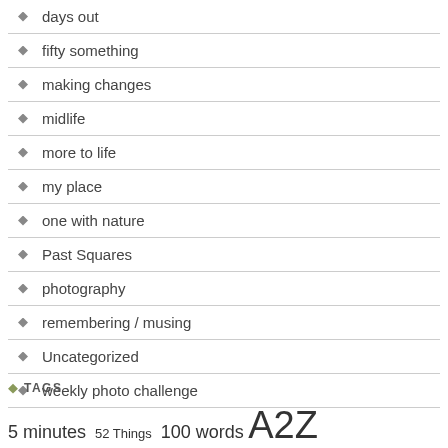days out
fifty something
making changes
midlife
more to life
my place
one with nature
Past Squares
photography
remembering / musing
Uncategorized
weekly photo challenge
TAGS
5 minutes  52 Things  100 words  A2Z Challenge  animals